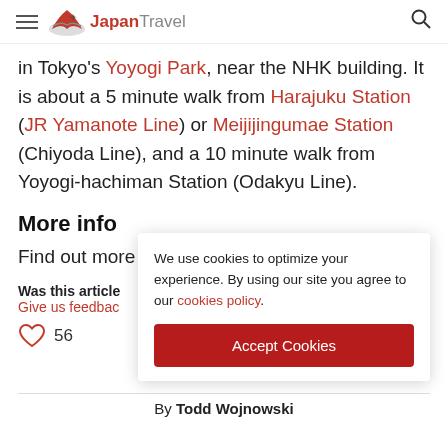Japan Travel
in Tokyo's Yoyogi Park, near the NHK building. It is about a 5 minute walk from Harajuku Station (JR Yamanote Line) or Meijijingumae Station (Chiyoda Line), and a 10 minute walk from Yoyogi-hachiman Station (Odakyu Line).
More info
Find out more about Yoyogi Park.
Was this article
Give us feedbac
We use cookies to optimize your experience. By using our site you agree to our cookies policy.
Accept Cookies
56
By Todd Wojnowski